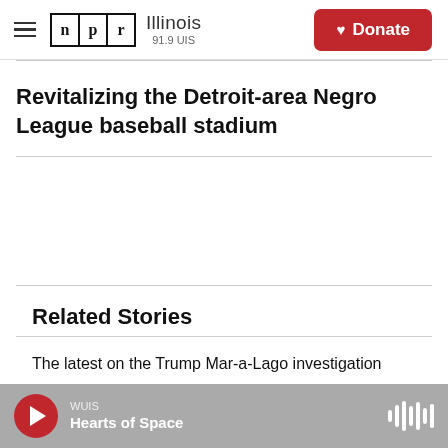NPR Illinois 91.9 UIS | Donate
Revitalizing the Detroit-area Negro League baseball stadium
Related Stories
The latest on the Trump Mar-a-Lago investigation
WUIS — Hearts of Space